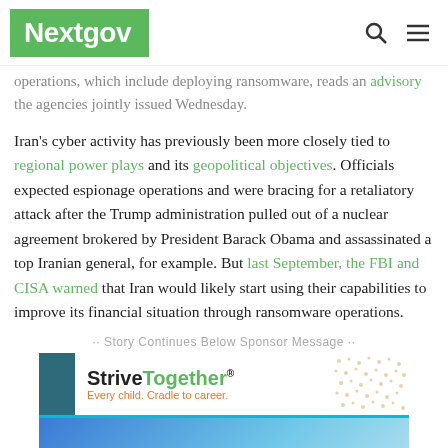Nextgov
operations, which include deploying ransomware, reads an advisory the agencies jointly issued Wednesday.
Iran's cyber activity has previously been more closely tied to regional power plays and its geopolitical objectives. Officials expected espionage operations and were bracing for a retaliatory attack after the Trump administration pulled out of a nuclear agreement brokered by President Barack Obama and assassinated a top Iranian general, for example. But last September, the FBI and CISA warned that Iran would likely start using their capabilities to improve its financial situation through ransomware operations.
·· Story Continues Below Sponsor Message ··
[Figure (infographic): StriveTogether advertisement — Every child. Cradle to career. — with teal and geometric dot pattern and image below.]